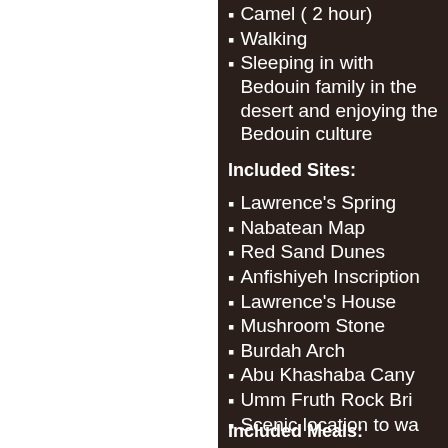Camel ( 2 hour)
Walking
Sleeping in with Bedouin family in the desert and enjoying the Bedouin culture
Included Sites:
Lawrence's Spring
Nabatean Map
Red Sand Dunes
Anfishiyeh Inscriptions
Lawrence's House
Mushroom Stone
Burdah Arch
Abu Khashaba Canyon
Umm Fruth Rock Bridge
Scenic location to watch
Included Meals: